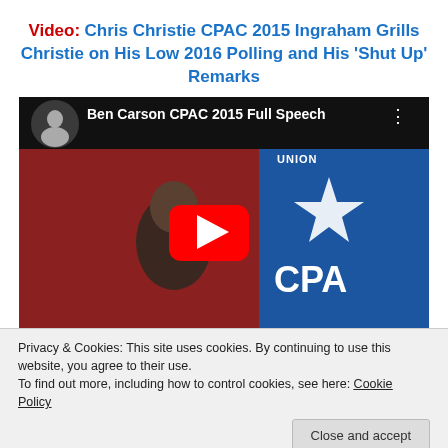Video: Chris Christie CPAC 2015 Ingraham Grills Christie on His Low 2016 Polling and His 'Shut Up' Remarks
[Figure (screenshot): YouTube video thumbnail showing Ben Carson CPAC 2015 Full Speech with play button overlay. Background shows a man in a suit with CPAC (American Conservative Union) blue banner. Cookie notice overlay at bottom of video area.]
Privacy & Cookies: This site uses cookies. By continuing to use this website, you agree to their use.
To find out more, including how to control cookies, see here: Cookie Policy
Close and accept
Conservatives Do Care About the Poor